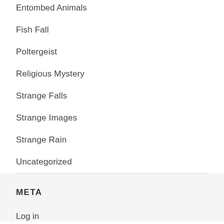Entombed Animals
Fish Fall
Poltergeist
Religious Mystery
Strange Falls
Strange Images
Strange Rain
Uncategorized
META
Log in